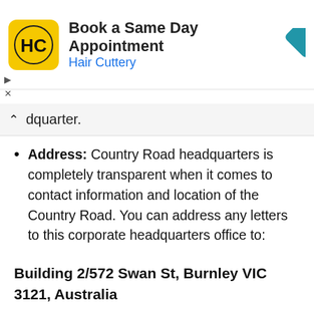[Figure (logo): Hair Cuttery advertisement banner with HC logo, 'Book a Same Day Appointment' title, and navigation arrow icon]
dquarter.
Address: Country Road headquarters is completely transparent when it comes to contact information and location of the Country Road. You can address any letters to this corporate headquarters office to:
Building 2/572 Swan St, Burnley VIC 3121, Australia